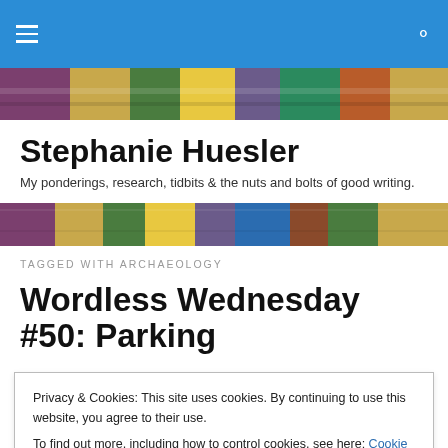Navigation bar with hamburger menu and search icon
[Figure (photo): Colorful quilt or textile banner image]
Stephanie Huesler
My ponderings, research, tidbits & the nuts and bolts of good writing.
[Figure (photo): Colorful quilt or textile banner strip]
TAGGED WITH ARCHAEOLOGY
Wordless Wednesday #50: Parking
Privacy & Cookies: This site uses cookies. By continuing to use this website, you agree to their use.
To find out more, including how to control cookies, see here: Cookie Policy
Close and accept